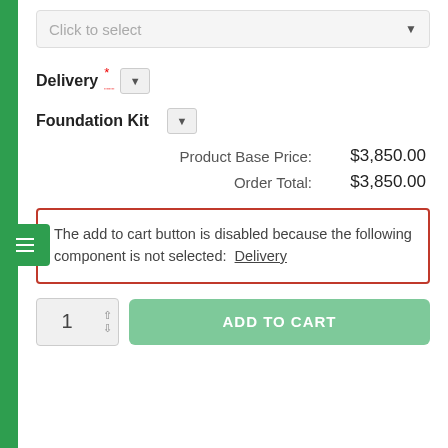[Figure (screenshot): Dropdown select field showing 'Click to select' placeholder]
Delivery * [dropdown]
Foundation Kit [dropdown]
| Product Base Price: | $3,850.00 |
| Order Total: | $3,850.00 |
The add to cart button is disabled because the following component is not selected:  Delivery
1  ADD TO CART